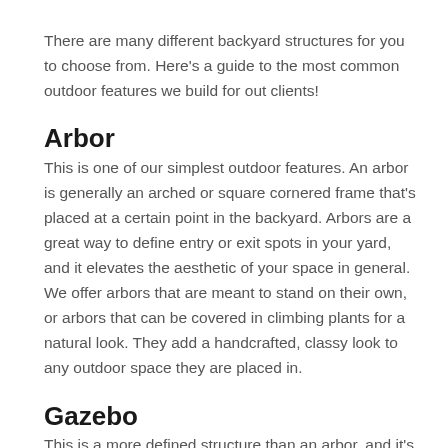There are many different backyard structures for you to choose from. Here's a guide to the most common outdoor features we build for out clients!
Arbor
This is one of our simplest outdoor features. An arbor is generally an arched or square cornered frame that's placed at a certain point in the backyard. Arbors are a great way to define entry or exit spots in your yard, and it elevates the aesthetic of your space in general. We offer arbors that are meant to stand on their own, or arbors that can be covered in climbing plants for a natural look. They add a handcrafted, classy look to any outdoor space they are placed in.
Gazebo
This is a more defined structure than an arbor, and it's almost a